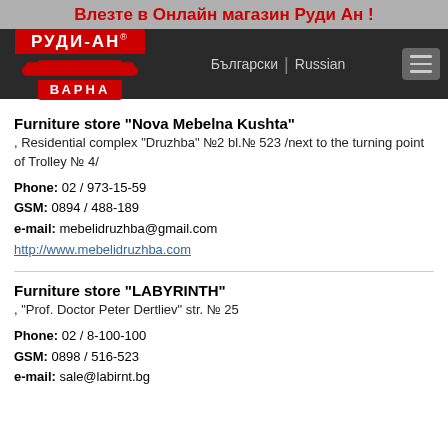Влезте в Онлайн магазин Руди Ан !
[Figure (logo): Руди-Ан Варна logo with red sofa graphic, dark navigation bar with Български and Russian language links and hamburger menu]
Furniture store "Nova Mebelna Kushta"
, Residential complex "Druzhba" №2 bl.№ 523 /next to the turning point of Trolley № 4/
Phone: 02 / 973-15-59
GSM: 0894 / 488-189
e-mail: mebelidruzhba@gmail.com
http://www.mebelidruzhba.com
Furniture store "LABYRINTH"
, "Prof. Doctor Peter Dertliev" str. № 25
Phone: 02 / 8-100-100
GSM: 0898 / 516-523
e-mail: sale@labirnt.bg